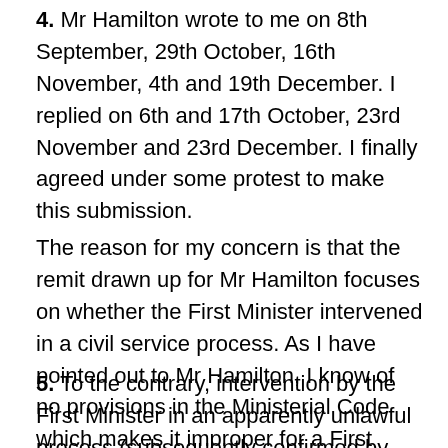4. Mr Hamilton wrote to me on 8th September, 29th October, 16th November, 4th and 19th December. I replied on 6th and 17th October, 23rd November and 23rd December. I finally agreed under some protest to make this submission.
The reason for my concern is that the remit drawn up for Mr Hamilton focuses on whether the First Minister intervened in a civil service process. As I have pointed out to Mr Hamilton, I know of no provisions in the Ministerial Code which makes it improper for a First Minister to so intervene.
5. To the contrary, intervention by the First Minister in an apparently unlawful process (subsequently confirmed by the Court of Session) would not constitute